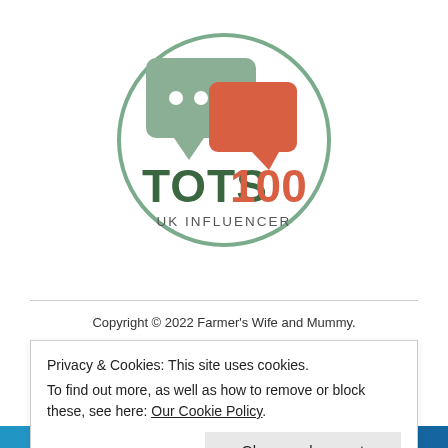[Figure (logo): TOTS100 UK Influencer logo — circular border with two overlapping speech bubbles (muted green and coral/red) above bold text 'TOTS100' (green and orange-red) and 'UK INFLUENCER' in small caps]
Copyright © 2022 Farmer's Wife and Mummy.
Privacy & Cookies: This site uses cookies.
To find out more, as well as how to remove or block these, see here: Our Cookie Policy
Close and accept